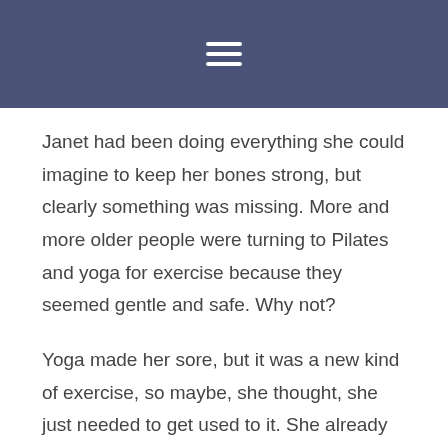≡
Janet had been doing everything she could imagine to keep her bones strong, but clearly something was missing. More and more older people were turning to Pilates and yoga for exercise because they seemed gentle and safe. Why not?
Yoga made her sore, but it was a new kind of exercise, so maybe, she thought, she just needed to get used to it. She already had neck and back